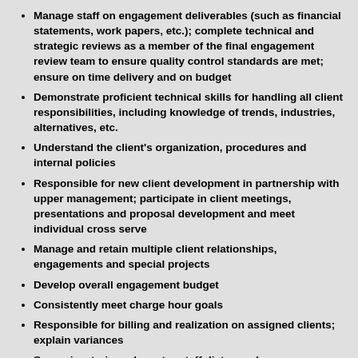Manage staff on engagement deliverables (such as financial statements, work papers, etc.); complete technical and strategic reviews as a member of the final engagement review team to ensure quality control standards are met; ensure on time delivery and on budget
Demonstrate proficient technical skills for handling all client responsibilities, including knowledge of trends, industries, alternatives, etc.
Understand the client's organization, procedures and internal policies
Responsible for new client development in partnership with upper management; participate in client meetings, presentations and proposal development and meet individual cross serve
Manage and retain multiple client relationships, engagements and special projects
Develop overall engagement budget
Consistently meet charge hour goals
Responsible for billing and realization on assigned clients; explain variances
Supervise, train and mentor staff; listen and